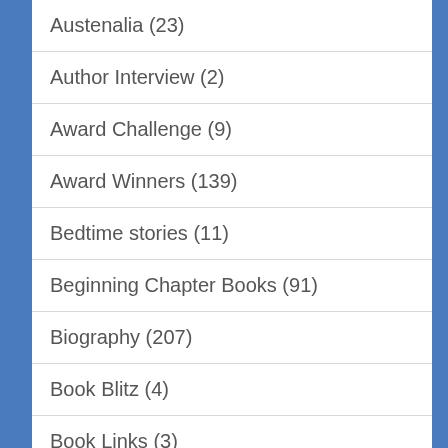Austenalia (23)
Author Interview (2)
Award Challenge (9)
Award Winners (139)
Bedtime stories (11)
Beginning Chapter Books (91)
Biography (207)
Book Blitz (4)
Book Links (3)
Books (1)